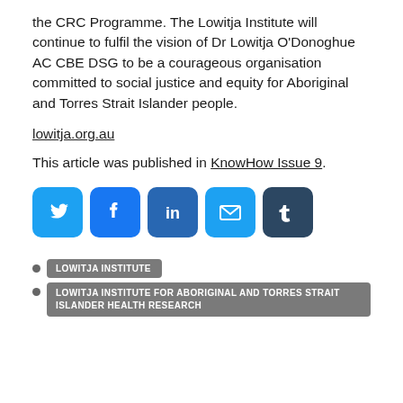the CRC Programme. The Lowitja Institute will continue to fulfil the vision of Dr Lowitja O'Donoghue AC CBE DSG to be a courageous organisation committed to social justice and equity for Aboriginal and Torres Strait Islander people.
lowitja.org.au
This article was published in KnowHow Issue 9.
[Figure (other): Social media share icons: Twitter (blue bird), Facebook (blue f), LinkedIn (blue in), Email (blue envelope), Tumblr (dark blue t)]
LOWITJA INSTITUTE
LOWITJA INSTITUTE FOR ABORIGINAL AND TORRES STRAIT ISLANDER HEALTH RESEARCH